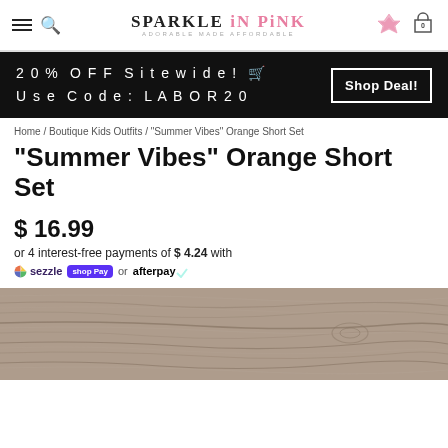Sparkle in Pink — Adorable Made Affordable
20% OFF Sitewide! Use Code: LABOR20 — Shop Deal!
Home / Boutique Kids Outfits / "Summer Vibes" Orange Short Set
"Summer Vibes" Orange Short Set
$ 16.99
or 4 interest-free payments of $ 4.24 with Sezzle shop Pay or afterpay
[Figure (photo): Wood grain texture background, brownish-gray tones, bottom portion of product page.]